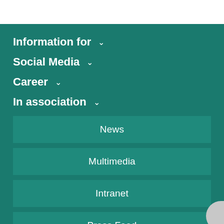Information for ˅
Social Media ˅
Career ˅
In association ˅
News
Multimedia
Intranet
Press Feed
RSS